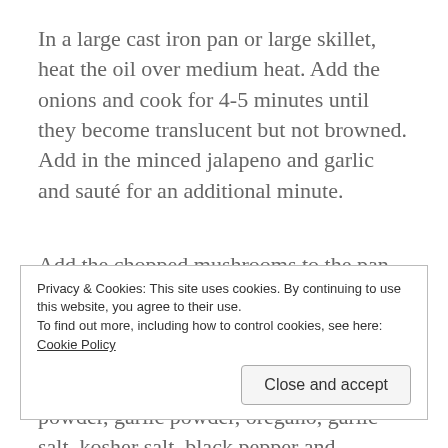In a large cast iron pan or large skillet, heat the oil over medium heat. Add the onions and cook for 4-5 minutes until they become translucent but not browned. Add in the minced jalapeno and garlic and sauté for an additional minute.
Add the chopped mushrooms to the pan and sauté over the medium heat until they are softened and begin to brown. Stir in the cumin, chili powder, paprika, turmeric, red pepper flakes, onion powder, garlic powder, oregano, garlic salt, kosher salt, black pepper and scallions. Cook for 1 minute and take the pan off the heat. Fold in the
Privacy & Cookies: This site uses cookies. By continuing to use this website, you agree to their use.
To find out more, including how to control cookies, see here: Cookie Policy
Close and accept